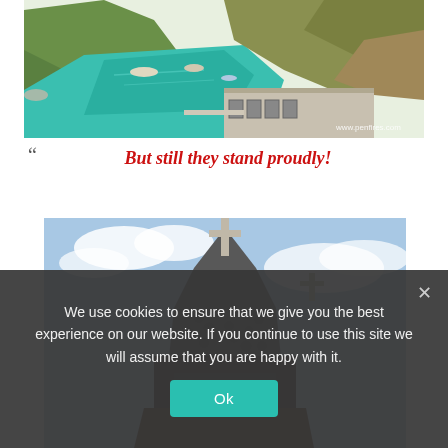[Figure (photo): Aerial or elevated view of a coastal harbor with turquoise water, small boats, rocky cliffs with green vegetation, and a concrete building/dock structure. Watermark: www.penfires.com]
“” But still they stand proudly!
[Figure (photo): Looking up at a stone church building with a cross at the top of the steeple, made of rounded stones, against a partly cloudy blue sky. A second cross is visible to the right.]
We use cookies to ensure that we give you the best experience on our website. If you continue to use this site we will assume that you are happy with it.